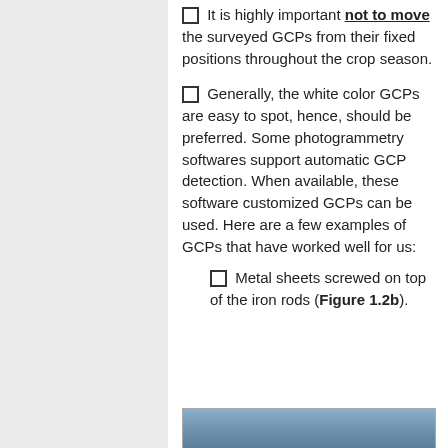It is highly important not to move the surveyed GCPs from their fixed positions throughout the crop season.
Generally, the white color GCPs are easy to spot, hence, should be preferred. Some photogrammetry softwares support automatic GCP detection. When available, these software customized GCPs can be used. Here are a few examples of GCPs that have worked well for us:
Metal sheets screwed on top of the iron rods (Figure 1.2b).
[Figure (photo): Partial view of a metal sheet GCP example image]